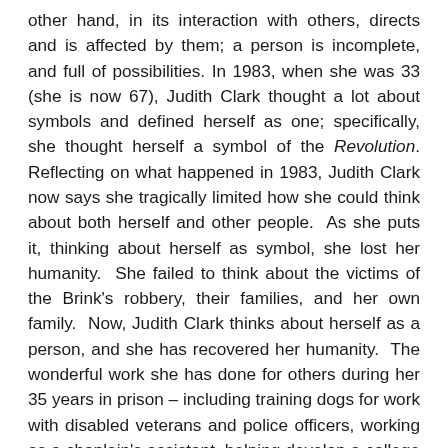other hand, in its interaction with others, directs and is affected by them; a person is incomplete, and full of possibilities. In 1983, when she was 33 (she is now 67), Judith Clark thought a lot about symbols and defined herself as one; specifically, she thought herself a symbol of the Revolution. Reflecting on what happened in 1983, Judith Clark now says she tragically limited how she could think about both herself and other people. As she puts it, thinking about herself as symbol, she lost her humanity. She failed to think about the victims of the Brink's robbery, their families, and her own family. Now, Judith Clark thinks about herself as a person, and she has recovered her humanity. The wonderful work she has done for others during her 35 years in prison – including training dogs for work with disabled veterans and police officers, working as a chaplain's assistant, helping develop a college program in the prison, supporting women with AIDS, leading prenatal and newborn classes – shows the change. Her thoughts about herself have moved from Judith Clark as symbol to